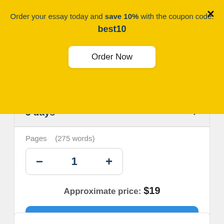Order your essay today and save 10% with the coupon code: best10
[Figure (screenshot): Order Now button on yellow background]
3 days
Pages   (275 words)
- 1 +
Approximate price: $19
Continue to order